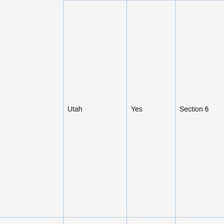|  | Utah | Yes | Section 6 | and for and of s oth pro the wel oth pur not infr not sha the from the of a |
|  |  |  |  | The citi |